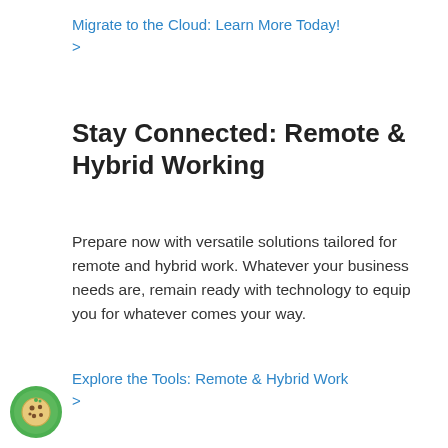Migrate to the Cloud: Learn More Today! >
Stay Connected: Remote & Hybrid Working
Prepare now with versatile solutions tailored for remote and hybrid work. Whatever your business needs are, remain ready with technology to equip you for whatever comes your way.
Explore the Tools: Remote & Hybrid Work >
[Figure (illustration): Green circle cookie consent icon with cookie graphic]